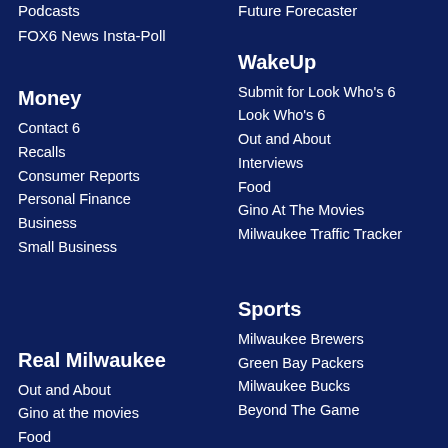Podcasts
FOX6 News Insta-Poll
Future Forecaster
Money
Contact 6
Recalls
Consumer Reports
Personal Finance
Business
Small Business
WakeUp
Submit for Look Who's 6
Look Who's 6
Out and About
Interviews
Food
Gino At The Movies
Milwaukee Traffic Tracker
Real Milwaukee
Out and About
Gino at the movies
Food
Lifestyle
Sports
Milwaukee Brewers
Green Bay Packers
Milwaukee Bucks
Beyond The Game